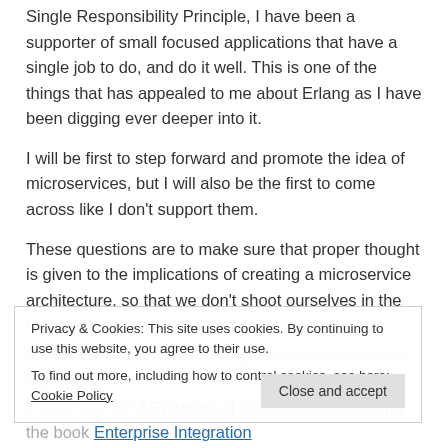Single Responsibility Principle, I have been a supporter of small focused applications that have a single job to do, and do it well. This is one of the things that has appealed to me about Erlang as I have been digging ever deeper into it.
I will be first to step forward and promote the idea of microservices, but I will also be the first to come across like I don't support them.
These questions are to make sure that proper thought is given to the implications of creating a microservice architecture, so that we don't shoot ourselves in the foot and become the case study of why microservices are just a bunch of hot air, instead of being a case study for why and how it can work.
Privacy & Cookies: This site uses cookies. By continuing to use this website, you agree to their use.
To find out more, including how to control cookies, see here: Cookie Policy
Close and accept
These questions are likely applicable to any new application, and not just microservices, and are inspired by the 8 Fallacies of Distributed Computing, the book Enterprise Integration